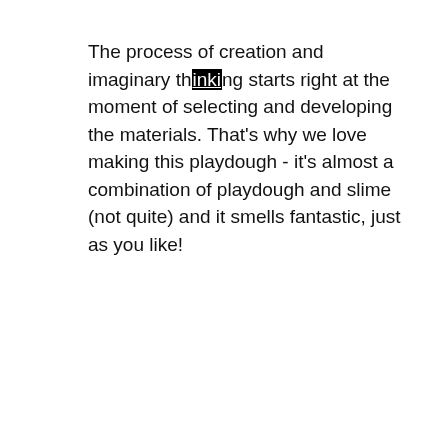The process of creation and imaginary thinking starts right at the moment of selecting and developing the materials. That's why we love making this playdough - it's almost a combination of playdough and slime (not quite) and it smells fantastic, just as you like!